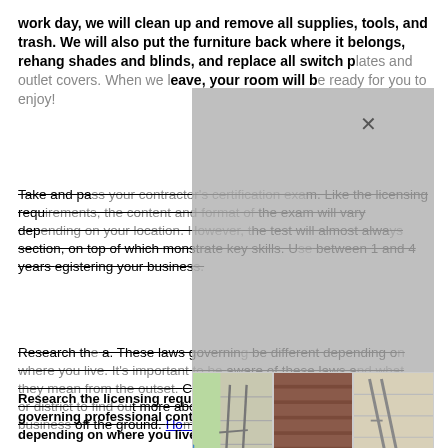work day, we will clean up and remove all supplies, tools, and trash. We will also put the furniture back where it belongs, rehang shades and blinds, and replace all switch plates and outlet covers. When we leave, your room will be ready for you to enjoy!
Take and pass your contractor's certification exam. Like the licensing requirements, the content and format of the exam will vary depending on your location. However, the test will almost always contain a multiple choice section, on top of which you will be required to demonstrate key skills. Usually, you will need between 1 and 4 years of experience before registering your business.
Research the licensing requirements for your area. These laws governing professional contractor work will be different depending on where you live. It's important to be aware of these laws and what they mean from the outset. Contact the licensing board for your state or district to find out more about what you'll need to do to get your business off the ground. Home Painters
[Figure (photo): Three overlapping photos of people falling from or near ladders on the side of houses, shown in a modal overlay with a close button (X).]
Research the licensing requirements for your area. These laws governing professional contractor work will be different depending on where you live. It's important to be aware of these laws and what they mean from the outset. Contact